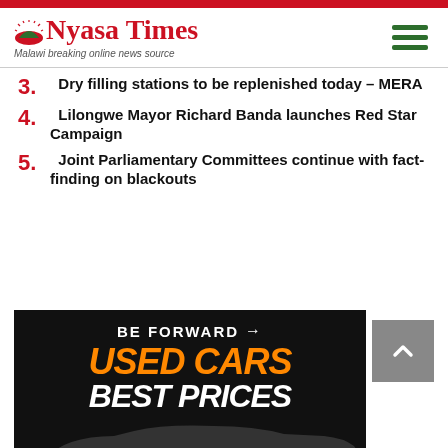Nyasa Times — Malawi breaking online news source
3. Dry filling stations to be replenished today – MERA
4. Lilongwe Mayor Richard Banda launches Red Star Campaign
5. Joint Parliamentary Committees continue with fact-finding on blackouts
[Figure (illustration): BE FORWARD advertisement banner showing 'USED CARS BEST PRICES' in orange and white bold italic text on black background with car silhouette]